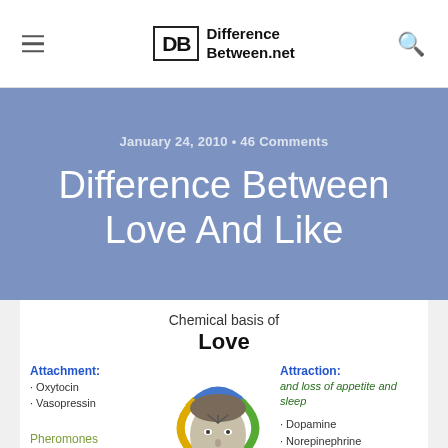DifferenceBetween.net
January 24, 2010 • 46 Comments
Difference Between Love And Like
[Figure (infographic): Infographic showing the chemical basis of Love, with a human face illustration in center, arrows showing Attachment (Oxytocin, Vasopressin), Pheromones, Lust on the left side; Attraction (and loss of appetite and sleep), Dopamine, Norepinephrine, Serotonin, Nerve growth factor, increased heart rate on the right side.]